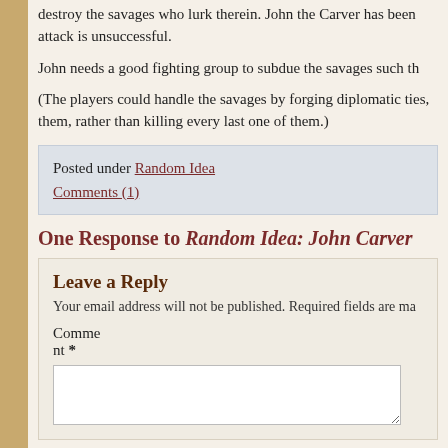destroy the savages who lurk therein. John the Carver has been ... attack is unsuccessful.
John needs a good fighting group to subdue the savages such tha...
(The players could handle the savages by forging diplomatic ties, ... them, rather than killing every last one of them.)
Posted under Random Idea
Comments (1)
One Response to Random Idea: John Carver
Leave a Reply
Your email address will not be published. Required fields are ma...
Comment *